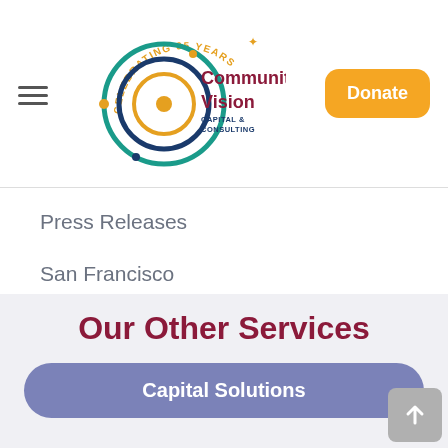[Figure (logo): Community Vision Capital & Consulting logo with 'Celebrating 35 Years' arc text, colorful circular emblem]
Donate
Press Releases
San Francisco
Social Services
Uncategorized
Youth
Our Other Services
Capital Solutions